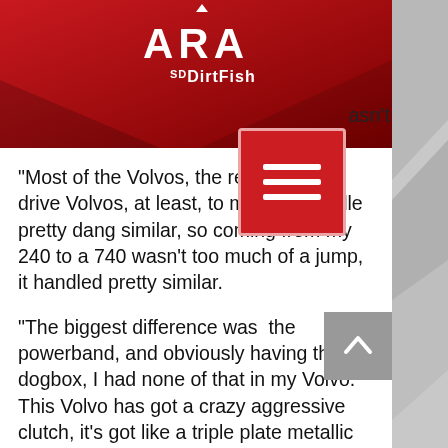[Figure (logo): ARA DirtFish logo on red header bar]
wasn't
“Most of the Volvos, the rear wheel drive Volvos, at least, to me they handle pretty dang similar, so coming from my 240 to a 740 wasn't too much of a jump, it handled pretty similar.
“The biggest difference was  the powerband, and obviously having the dogbox, I had none of that in my Volvo. This Volvo has got a crazy aggressive clutch, it’s got like a triple plate metallic clutch.
“And then it’s got, almost no torque under